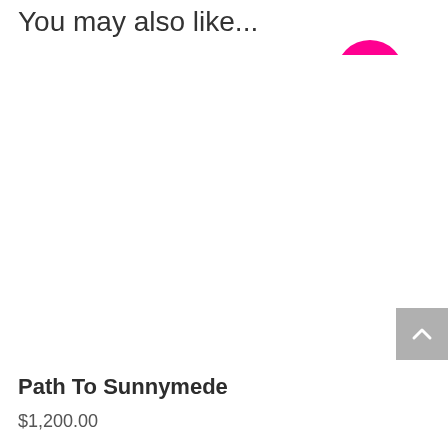You may also like...
[Figure (other): Product listing image area with SOLD badge (hot pink circle with white SOLD text) in upper right. Large white/blank image area for product photo. Gray scroll-to-top button with upward chevron in lower right.]
Path To Sunnymede
$1,200.00